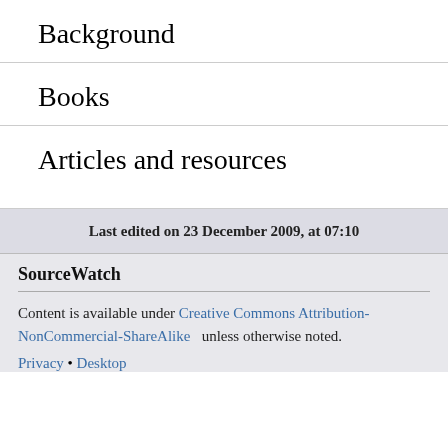Background
Books
Articles and resources
Last edited on 23 December 2009, at 07:10
SourceWatch
Content is available under Creative Commons Attribution-NonCommercial-ShareAlike unless otherwise noted.
Privacy • Desktop